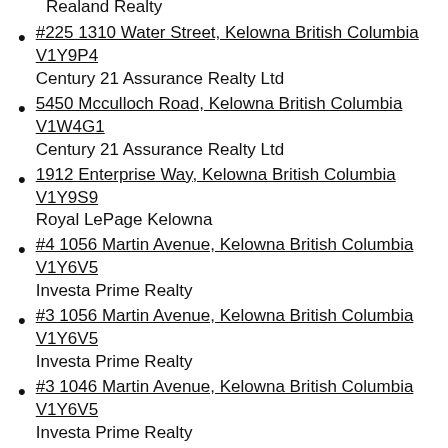Realand Realty
#225 1310 Water Street, Kelowna British Columbia V1Y9P4
Century 21 Assurance Realty Ltd
5450 Mcculloch Road, Kelowna British Columbia V1W4G1
Century 21 Assurance Realty Ltd
1912 Enterprise Way, Kelowna British Columbia V1Y9S9
Royal LePage Kelowna
#4 1056 Martin Avenue, Kelowna British Columbia V1Y6V5
Investa Prime Realty
#3 1056 Martin Avenue, Kelowna British Columbia V1Y6V5
Investa Prime Realty
#3 1046 Martin Avenue, Kelowna British Columbia V1Y6V5
Investa Prime Realty